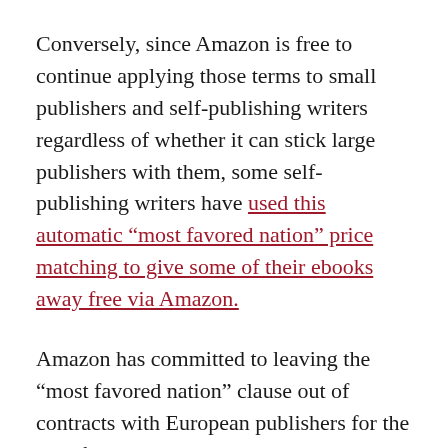Conversely, since Amazon is free to continue applying those terms to small publishers and self-publishing writers regardless of whether it can stick large publishers with them, some self-publishing writers have used this automatic “most favored nation” price matching to give some of their ebooks away free via Amazon.
Amazon has committed to leaving the “most favored nation” clause out of contracts with European publishers for the next five years. The story concludes that the European Commission is still investigating Amazon’s use of Luxembourg as its European headquarters to